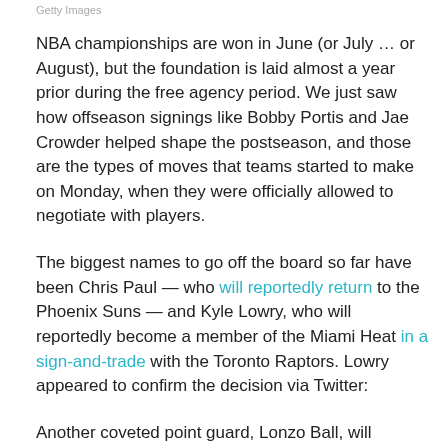Getty Images
NBA championships are won in June (or July … or August), but the foundation is laid almost a year prior during the free agency period. We just saw how offseason signings like Bobby Portis and Jae Crowder helped shape the postseason, and those are the types of moves that teams started to make on Monday, when they were officially allowed to negotiate with players.
The biggest names to go off the board so far have been Chris Paul — who will reportedly return to the Phoenix Suns — and Kyle Lowry, who will reportedly become a member of the Miami Heat in a sign-and-trade with the Toronto Raptors. Lowry appeared to confirm the decision via Twitter:
Another coveted point guard, Lonzo Ball, will reportedly join Zach LaVine in the Bulls backcourt in another sign-